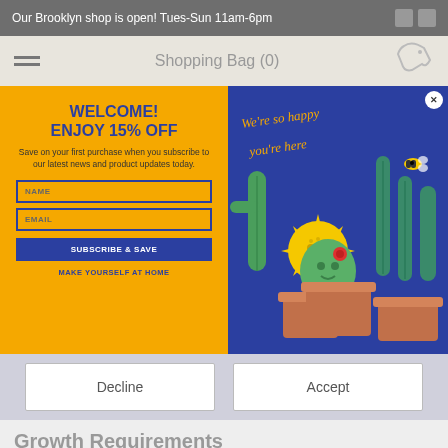Our Brooklyn shop is open! Tues-Sun 11am-6pm
Shopping Bag (0)
WELCOME!
ENJOY 15% OFF
Save on your first purchase when you subscribe to our latest news and product updates today.
NAME
EMAIL
SUBSCRIBE & SAVE
MAKE YOURSELF AT HOME
[Figure (illustration): Blue background illustration with cartoon cacti in terracotta pots, a smiling sun character, and a bee. Yellow cursive text reads 'We're so happy you're here'.]
Decline
Accept
Growth Requirements